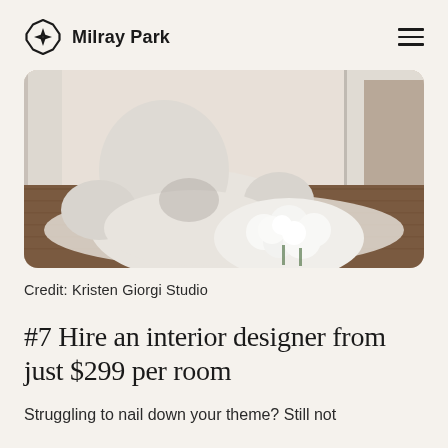Milray Park
[Figure (photo): A white bouclé armchair with curved sculptural form, with white roses/flowers in the foreground, on a wooden floor with a white area rug and white doors/walls in the background.]
Credit: Kristen Giorgi Studio
#7 Hire an interior designer from just $299 per room
Struggling to nail down your theme? Still not